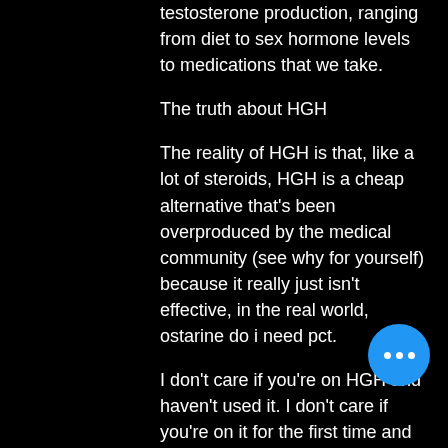testosterone production, ranging from diet to sex hormone levels to medications that we take.
The truth about HGH
The reality of HGH is that, like a lot of steroids, HGH is a cheap alternative that's been overproduced by the medical community (see why for yourself) because it really just isn't effective, in the real world, ostarine do i need pct.
I don't care if you're on HGH and haven't used it. I don't care if you're on it for the first time and haven't heard about it, growth hormone stack bodybuilding. Don't go get ripped, and don't use it for muscle building.
I don't care if you're on HGH for the first time and haven't heard about it, somatropin bestellen.